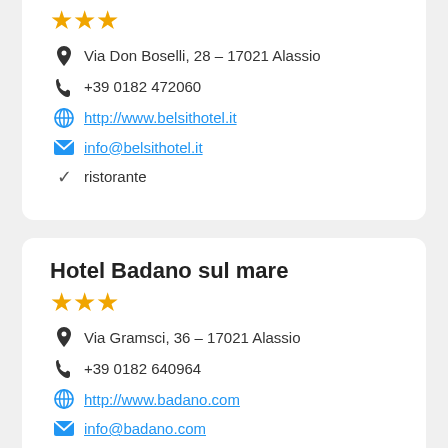★★★
Via Don Boselli, 28 – 17021 Alassio
+39 0182 472060
http://www.belsithotel.it
info@belsithotel.it
ristorante
Hotel Badano sul mare
★★★
Via Gramsci, 36 – 17021 Alassio
+39 0182 640964
http://www.badano.com
info@badano.com